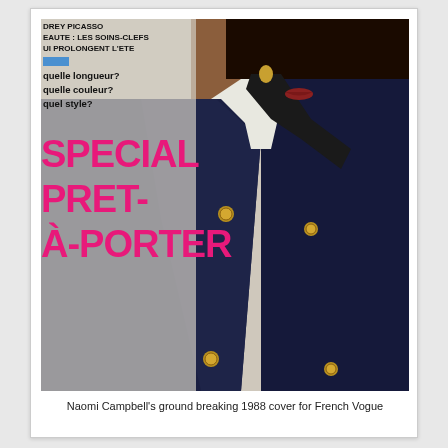[Figure (photo): Magazine cover of French Vogue 1988 featuring Naomi Campbell wearing a navy double-breasted blazer with gold buttons and a black neck scarf, with French text overlaid on the left side including 'BEAUTE: LES SOINS-CLEFS QUI PROLONGENT L'ETE', 'quelle longueur? quelle couleur? quel style?' and large magenta text 'SPECIAL PRET-A-PORTER']
Naomi Campbell's ground breaking 1988 cover for French Vogue